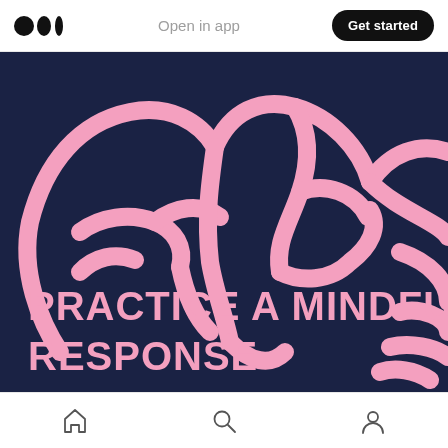Medium logo | Open in app | Get started
[Figure (illustration): Dark navy blue background with a stylized pink brain illustration (outline/line art style, showing neural/brain folds). At the bottom, bold pink uppercase text reads: PRACTICE A MINDFUL RESPONSE]
Home | Search | Profile icons